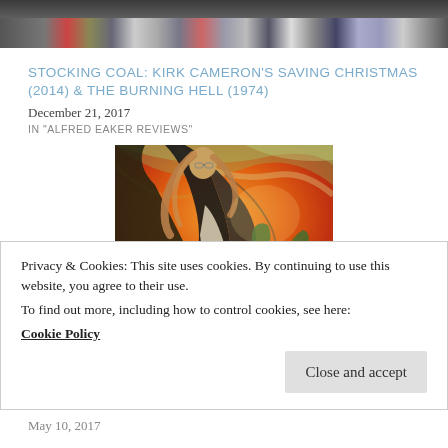[Figure (photo): Partial view of a crowd or group of people at the top of the page, cropped to show only the bottom portion of a photo.]
STOCKING COAL: KIRK CAMERON'S SAVING CHRISTMAS (2014) & THE BURNING HELL (1974)
December 21, 2017
IN "ALFRED EAKER REVIEWS"
[Figure (illustration): Dramatic fantasy/horror illustration showing a dark-caped figure with long hair, a woman below, and a green winged dragon creature against an orange and swirling background.]
Privacy & Cookies: This site uses cookies. By continuing to use this website, you agree to their use.
To find out more, including how to control cookies, see here:
Cookie Policy
Close and accept
May 10, 2017